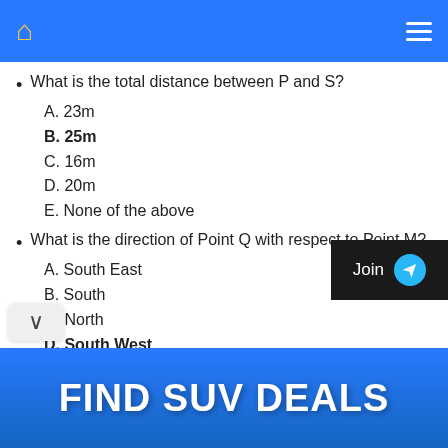Home | Menu
What is the total distance between P and S?
A. 23m
B. 25m
C. 16m
D. 20m
E. None of the above
What is the direction of Point Q with respect to Point M?
A. South East
B. South
C. North
D. South West
[Figure (other): Join button with Telegram icon on dark background]
FIND SUV DEALS